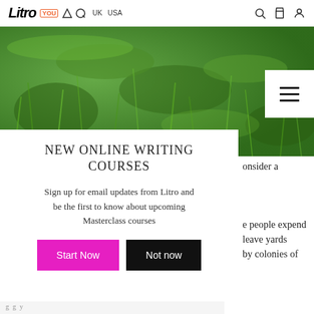LITRO | YOU | UK | USA
[Figure (photo): Close-up photograph of green grass filling the full width of the page header area]
NEW ONLINE WRITING COURSES
Sign up for email updates from Litro and be the first to know about upcoming Masterclass courses
Start Now | Not now
onsider a
e people expend leave yards by colonies of